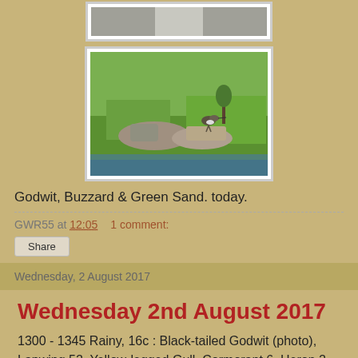[Figure (photo): Photo of a bird (Green Sandpiper) standing on rocks near water with green grass background]
Godwit, Buzzard & Green Sand. today.
GWR55 at 12:05    1 comment:
Share
Wednesday, 2 August 2017
Wednesday 2nd August 2017
1300 - 1345 Rainy, 16c : Black-tailed Godwit (photo), Lapwing 52, Yellow-legged Gull, Cormorant 6, Heron 2, GC